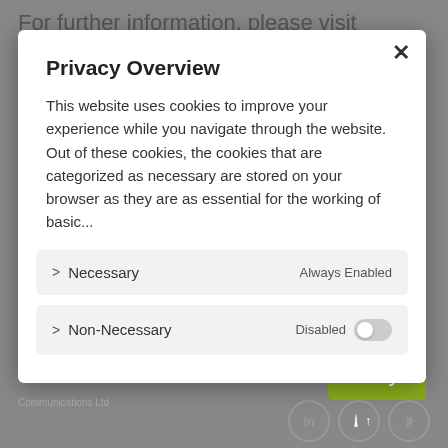For further information, please visit
Privacy Overview
This website uses cookies to improve your experience while you navigate through the website. Out of these cookies, the cookies that are categorized as necessary are stored on your browser as they are as essential for the working of basic...
> Necessary   Always Enabled
> Non-Necessary   Disabled [toggle off]
We use cookies to ensure that we give you the best experience on our website. If you continue to use this site we will assume that you are happy with it.
View Privacy Policy
Okay
Communications Ltd